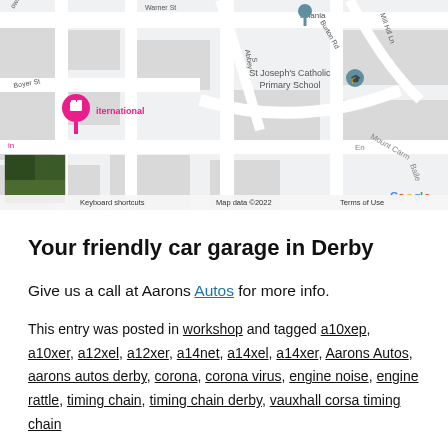[Figure (map): Google Maps screenshot showing street map around St Joseph's Catholic Primary School in Derby. Shows streets including Warner St, Abbey St, Burton Rd, Mill Hill Ln, Boyer St, Mount Carm(el). A pink location pin is visible with a bed icon labeled 'international'. A small satellite thumbnail is in the bottom-left. Google logo and map controls visible. Footer text: 'Keyboard shortcuts  Map data ©2022  Terms of Use'.]
Your friendly car garage in Derby
Give us a call at Aarons Autos for more info.
This entry was posted in workshop and tagged a10xep, a10xer, a12xel, a12xer, a14net, a14xel, a14xer, Aarons Autos, aarons autos derby, corona, corona virus, engine noise, engine rattle, timing chain, timing chain derby, vauxhall corsa timing chain